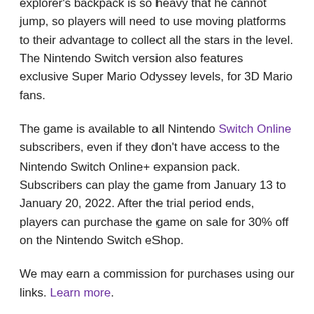explorer's backpack is so heavy that he cannot jump, so players will need to use moving platforms to their advantage to collect all the stars in the level. The Nintendo Switch version also features exclusive Super Mario Odyssey levels, for 3D Mario fans.
The game is available to all Nintendo Switch Online subscribers, even if they don't have access to the Nintendo Switch Online+ expansion pack. Subscribers can play the game from January 13 to January 20, 2022. After the trial period ends, players can purchase the game on sale for 30% off on the Nintendo Switch eShop.
We may earn a commission for purchases using our links. Learn more.
my wallet is crying
Where are the Nintendo Selects for Switch?